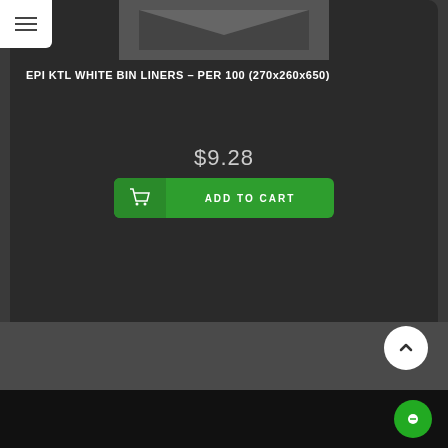[Figure (screenshot): E-commerce product page screenshot showing a product card for EPI KTL WHITE BIN LINERS on a dark background, with price $9.28 and an Add to Cart button]
EPI KTL WHITE BIN LINERS – PER 100 (270x260x650)
$9.28
ADD TO CART